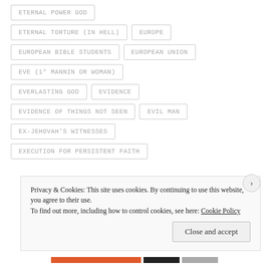ETERNAL POWER GOD
ETERNAL TORTURE (IN HELL)
EUROPE
EUROPEAN BIBLE STUDENTS
EUROPEAN UNION
EVE (1° MANNIN OR WOMAN)
EVERLASTING GOD
EVIDENCE
EVIDENCE OF THINGS NOT SEEN
EVIL MAN
EX-JEHOVAH'S WITNESSES
EXECUTION FOR PERSISTENT FAITH
Privacy & Cookies: This site uses cookies. By continuing to use this website, you agree to their use. To find out more, including how to control cookies, see here: Cookie Policy
Close and accept